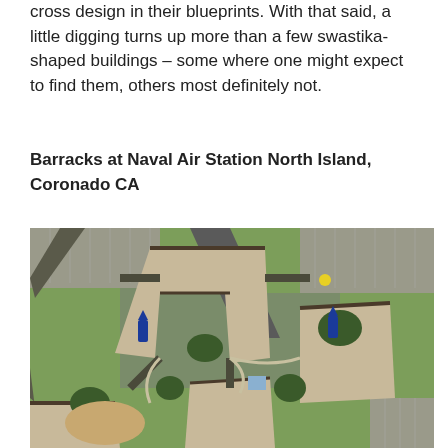cross design in their blueprints. With that said, a little digging turns up more than a few swastika-shaped buildings – some where one might expect to find them, others most definitely not.
Barracks at Naval Air Station North Island, Coronado CA
[Figure (photo): Aerial satellite view of barracks buildings at Naval Air Station North Island, Coronado CA, showing the swastika-shaped layout of the building complex surrounded by green lawns, trees, parking lots, and roads.]